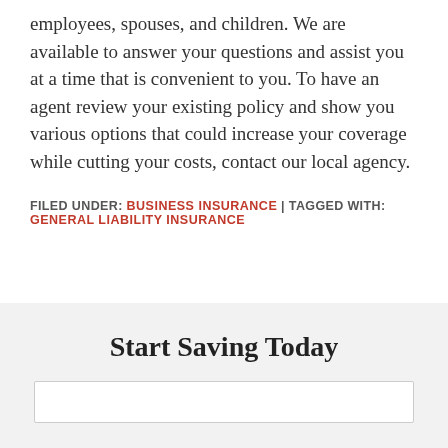employees, spouses, and children. We are available to answer your questions and assist you at a time that is convenient to you. To have an agent review your existing policy and show you various options that could increase your coverage while cutting your costs, contact our local agency.
FILED UNDER: BUSINESS INSURANCE | TAGGED WITH: GENERAL LIABILITY INSURANCE
Start Saving Today